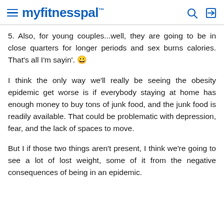myfitnesspal
5. Also, for young couples...well, they are going to be in close quarters for longer periods and sex burns calories. That's all I'm sayin'. 😀
I think the only way we'll really be seeing the obesity epidemic get worse is if everybody staying at home has enough money to buy tons of junk food, and the junk food is readily available. That could be problematic with depression, fear, and the lack of spaces to move.
But I if those two things aren't present, I think we're going to see a lot of lost weight, some of it from the negative consequences of being in an epidemic.